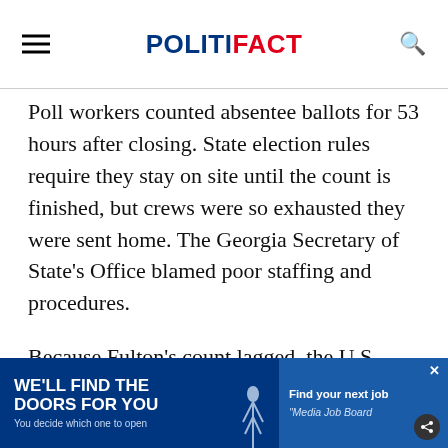POLITIFACT
Poll workers counted absentee ballots for 53 hours after closing. State election rules require they stay on site until the count is finished, but crews were so exhausted they were sent home. The Georgia Secretary of State's Office blamed poor staffing and procedures.
Because Fulton's count lagged, the U.S. Senate race took an odd turn. Democratic challenger Jim Martin and Republican incumbent Sa[m Chambliss] gone...
[Figure (other): Advertisement banner at bottom of page: left side shows 'WE'LL FIND THE DOORS FOR YOU / You decide which one to open' on blue background with figure; right side shows 'Find your next job / Media Job Board' on darker blue background with close button and share icon]